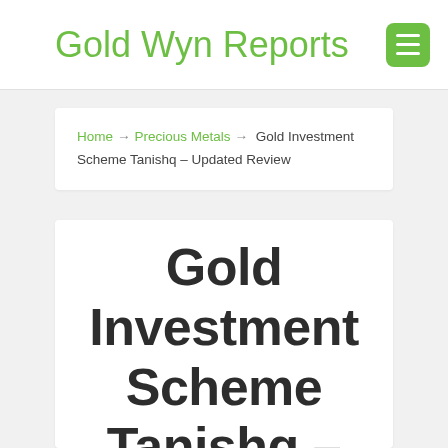Gold Wyn Reports
Home → Precious Metals → Gold Investment Scheme Tanishq – Updated Review
Gold Investment Scheme Tanishq – Updated